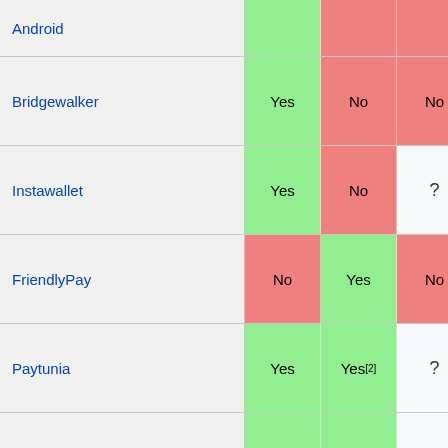|  | Android | iOS | Windows Phone | Blackberry |
| --- | --- | --- | --- | --- |
| Android | Yes |  |  |  |
| Bridgewalker | Yes | No | No | No |
| Instawallet | Yes | No | ? | ? |
| FriendlyPay | No | Yes | No | No |
| Paytunia | Yes | Yes[2] | ? | ? |
| Easywallet.org | Yes | Yes | ? | ? |
| ResponsePay | Yes | Yes | No | No |
See Also
Payment methods
Open-Source Bitcoin Clients for the